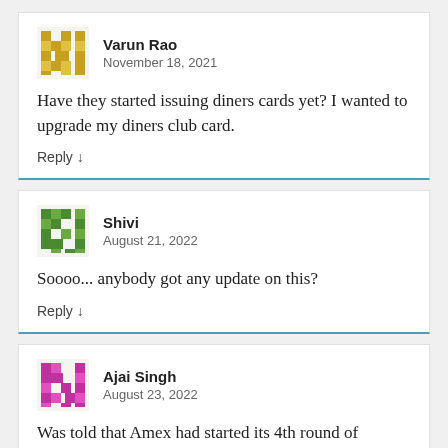Varun Rao
November 18, 2021
Have they started issuing diners cards yet? I wanted to upgrade my diners club card.
Reply
Shivi
August 21, 2022
Soooo... anybody got any update on this?
Reply
Ajai Singh
August 23, 2022
Was told that Amex had started its 4th round of